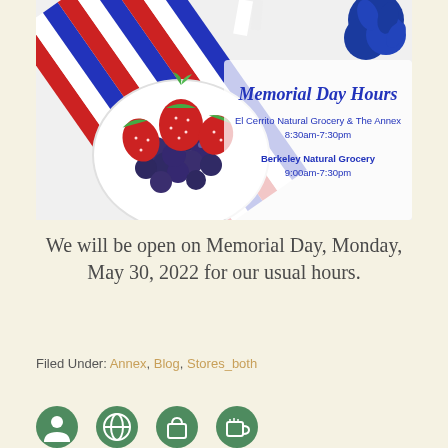[Figure (photo): Memorial Day Hours announcement image with a bowl of strawberries and blueberries, red-white-blue striped ribbon, and blue decorative flowers on a white background. Text reads: 'Memorial Day Hours', 'El Cerrito Natural Grocery & The Annex 8:30am-7:30pm', 'Berkeley Natural Grocery 9:00am-7:30pm']
We will be open on Memorial Day, Monday, May 30, 2022 for our usual hours.
Filed Under: Annex, Blog, Stores_both
[Figure (illustration): Row of green circular social media / contact icons at the bottom of the page]